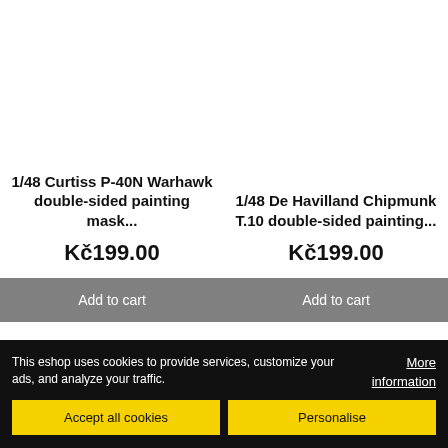1/48 Curtiss P-40N Warhawk double-sided painting mask...
Kč199.00
Add to cart
1/48 De Havilland Chipmunk T.10 double-sided painting...
Kč199.00
Add to cart
This eshop uses cookies to provide services, customize your ads, and analyze your traffic.
More information
Accept all cookies
Personalise